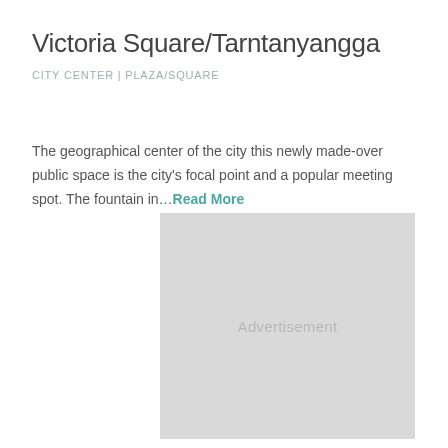Victoria Square/Tarntanyangga
CITY CENTER | PLAZA/SQUARE
The geographical center of the city this newly made-over public space is the city's focal point and a popular meeting spot. The fountain in...Read More
[Figure (other): Advertisement placeholder block — light grey rectangle with the word 'Advertisement' in grey text centered within it]